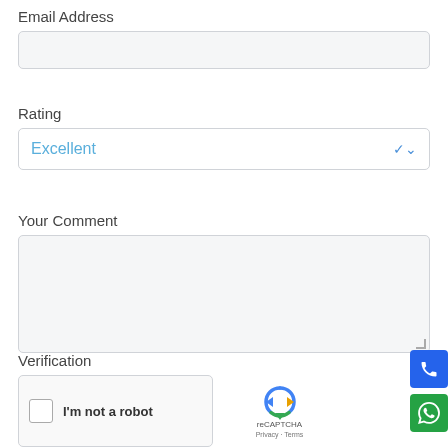Email Address
[Figure (screenshot): Empty email address input text field with light gray background and rounded border]
Rating
[Figure (screenshot): Dropdown select field showing 'Excellent' in blue text with a blue chevron arrow on the right]
Your Comment
[Figure (screenshot): Large textarea input box with light gray background, rounded corners, and a resize handle at bottom right]
Verification
[Figure (screenshot): reCAPTCHA widget with checkbox, 'I'm not a robot' text, reCAPTCHA logo, and Privacy - Terms links]
[Figure (screenshot): Blue phone call button icon on right side]
[Figure (screenshot): Green WhatsApp button icon on right side]